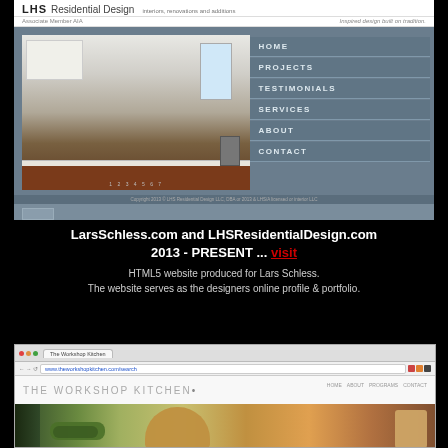[Figure (screenshot): Screenshot of LHS Residential Design website showing a kitchen photo on the left and navigation menu (HOME, PROJECTS, TESTIMONIALS, SERVICES, ABOUT, CONTACT) on a dark blue-gray background on the right.]
LarsSchless.com and LHSResidentialDesign.com 2013 - PRESENT ... visit
HTML5 website produced for Lars Schless.
The website serves as the designers online profile & portfolio.
[Figure (screenshot): Screenshot of The Workshop Kitchen website showing the browser chrome with URL bar, the workshop kitchen logo in gray text, and a food photograph showing pickles, bread, and a cup.]